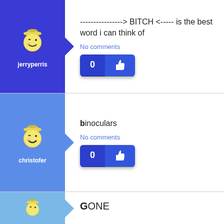[Figure (illustration): User avatar icon for jerryperris - winking smiley face with hat]
jerryperris
----------------> BITCH <----- is the best word i can think of
No comments
[Figure (illustration): Like button with 0 count and thumbs up icon]
[Figure (illustration): User avatar icon for christofer - winking smiley face with hat]
christofer
binoculars
No comments
[Figure (illustration): Like button with 0 count and thumbs up icon]
[Figure (illustration): User avatar icon partial - winking smiley face with hat]
GONE